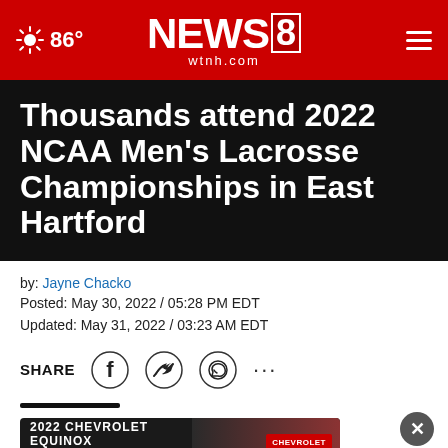86° NEWS8 wtnh.com
Thousands attend 2022 NCAA Men's Lacrosse Championships in East Hartford
by: Jayne Chacko
Posted: May 30, 2022 / 05:28 PM EDT
Updated: May 31, 2022 / 03:23 AM EDT
SHARE [Facebook] [Twitter] [WhatsApp] [...]
EAST [ad obscured] over the country traveled to Rentschler Field for the 2022